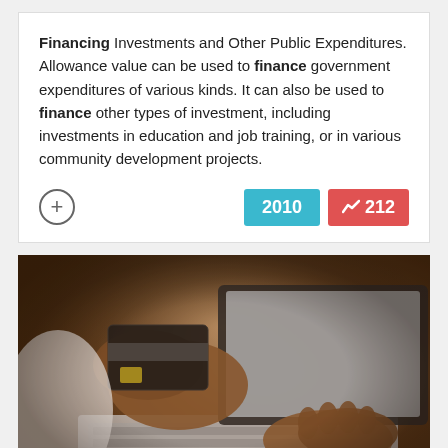Financing Investments and Other Public Expenditures. Allowance value can be used to finance government expenditures of various kinds. It can also be used to finance other types of investment, including investments in education and job training, or in various community development projects.
[Figure (photo): Person holding a credit card in one hand while typing on a laptop with the other hand, suggesting online payment or e-commerce activity.]